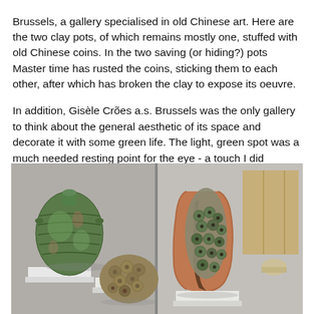Brussels, a gallery specialised in old Chinese art. Here are the two clay pots, of which remains mostly one, stuffed with old Chinese coins. In the two saving (or hiding?) pots Master time has rusted the coins, sticking them to each other, after which has broken the clay to expose its oeuvre.
In addition, Gisèle Crões a.s. Brussels was the only gallery to think about the general aesthetic of its space and decorate it with some green life. The light, green spot was a much needed resting point for the eye - a touch I did appreciate amidst the deluge of colours and forms of the art fair.
[Figure (photo): Gallery display showing three clay pot artifacts: on the left a green/turquoise patinated ceramic vase on a white plinth, in the center a rounded mass of rusted ancient Chinese coins clustered together on a white plinth, and on the right a clay pot split open revealing a dense interior filled with rusted ancient Chinese coins on a white plinth. Background is a neutral gray gallery wall with a decorative folding screen visible on the right.]